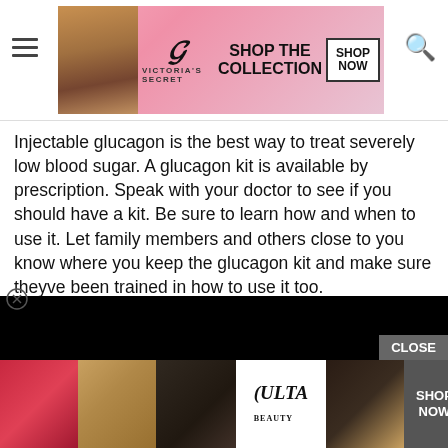[Figure (screenshot): Victoria's Secret advertisement banner with model, VS logo, 'SHOP THE COLLECTION' text, and SHOP NOW button]
Injectable glucagon is the best way to treat severely low blood sugar. A glucagon kit is available by prescription. Speak with your doctor to see if you should have a kit. Be sure to learn how and when to use it. Let family members and others close to you know where you keep the glucagon kit and make sure theyve been trained in how to use it too.
[Figure (screenshot): Black redacted/blacked-out rectangle overlaying part of the content, with partial text visible: 'tor for emergency medical', 'receiving a glucagon injection.', 'rely low blood sugar, theyll', 'nutes after a glucagon injection.']
If they dont wake up within 15 minutes after the injection, they should receive one more dose. When the person is awake and able to swallow:
[Figure (screenshot): Ulta Beauty advertisement banner with makeup/beauty images, Ulta logo, CLOSE button, and SHOP NOW button]
Fee